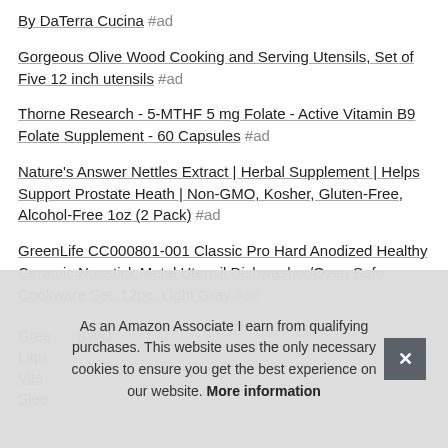By DaTerra Cucina #ad
Gorgeous Olive Wood Cooking and Serving Utensils, Set of Five 12 inch utensils #ad
Thorne Research - 5-MTHF 5 mg Folate - Active Vitamin B9 Folate Supplement - 60 Capsules #ad
Nature's Answer Nettles Extract | Herbal Supplement | Helps Support Prostate Heath | Non-GMO, Kosher, Gluten-Free, Alcohol-Free 1oz (2 Pack) #ad
GreenLife CC000801-001 Classic Pro Hard Anodized Healthy Ceramic Nonstick Metal Utensil Dishwasher/Oven Safe Cookware Set, 12pc, Light Gray #ad
Gree... BWC...
Liqu... Vita... Slee...
As an Amazon Associate I earn from qualifying purchases. This website uses the only necessary cookies to ensure you get the best experience on our website. More information